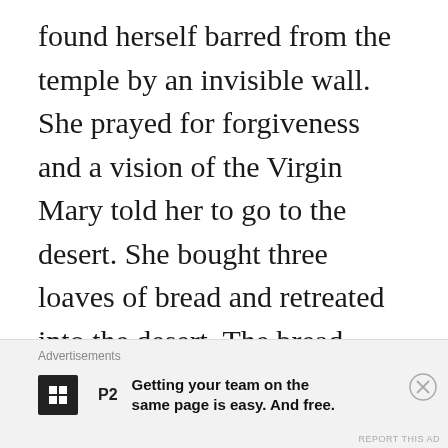found herself barred from the temple by an invisible wall. She prayed for forgiveness and a vision of the Virgin Mary told her to go to the desert. She bought three loaves of bread and retreated into the desert. The bread miraculously kept her going for fifteen years.

Illiterate, she now knows the Bible by
Advertisements
Getting your team on the same page is easy. And free.